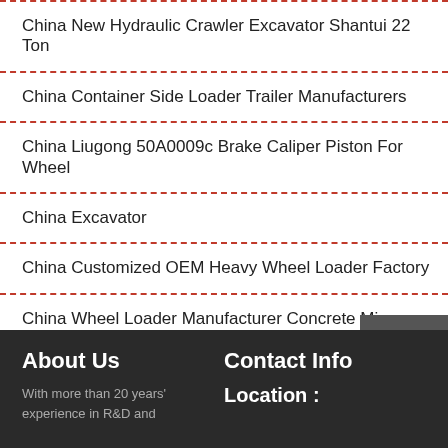China New Hydraulic Crawler Excavator Shantui 22 Ton
China Container Side Loader Trailer Manufacturers
China Liugong 50A0009c Brake Caliper Piston For Wheel
China Excavator
China Customized OEM Heavy Wheel Loader Factory
China Wheel Loader Manufacturer Concrete Mixer Te...
[Figure (infographic): Sidebar with Chat, Email, Contact icons on dark grey background]
About Us
With more than 20 years' experience in R&D and
Contact Info
Location :